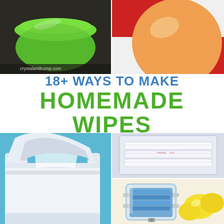[Figure (photo): Top-left: Green round plastic container with lid on dark background]
[Figure (photo): Top-right: Orange/grapefruit on red and white checkered background]
18+ WAYS TO MAKE HOMEMADE WIPES
[Figure (photo): Bottom-left: White plastic wipes dispenser being opened, blue background]
[Figure (photo): Bottom-right-top: White fabric/cloth wipes folded in a clear container]
[Figure (photo): Bottom-right-bottom: Glass jar with blue wipes and lemons in background]